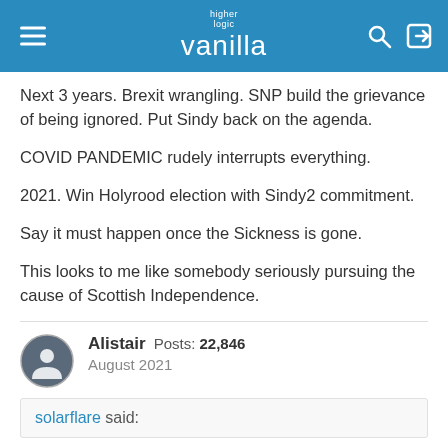higher logic vanilla
Next 3 years. Brexit wrangling. SNP build the grievance of being ignored. Put Sindy back on the agenda.
COVID PANDEMIC rudely interrupts everything.
2021. Win Holyrood election with Sindy2 commitment.
Say it must happen once the Sickness is gone.
This looks to me like somebody seriously pursuing the cause of Scottish Independence.
Alistair  Posts: 22,846  August 2021
solarflare said: